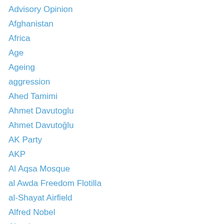Advisory Opinion
Afghanistan
Africa
Age
Ageing
aggression
Ahed Tamimi
Ahmet Davutoglu
Ahmet Davutoğlu
AK Party
AKP
Al Aqsa Mosque
al Awda Freedom Flotilla
al-Shayat Airfield
Alfred Nobel
Algeria
Ali Khamenei
Ali Mazrui
alliance
Altamont Speedway Concert